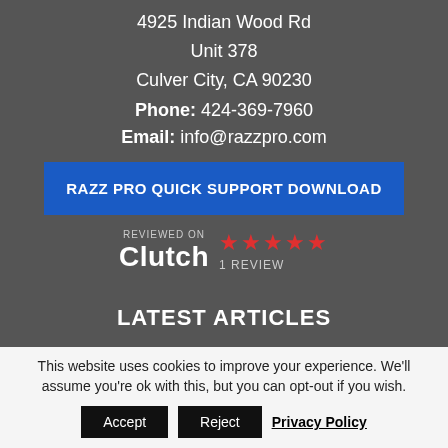4925 Indian Wood Rd
Unit 378
Culver City, CA 90230
Phone: 424-369-7960
Email: info@razzpro.com
RAZZ PRO QUICK SUPPORT DOWNLOAD
[Figure (logo): Clutch review badge with 5 red stars and '1 REVIEW' label. Text reads 'REVIEWED ON Clutch'.]
LATEST ARTICLES
This website uses cookies to improve your experience. We'll assume you're ok with this, but you can opt-out if you wish.
Accept  Reject  Privacy Policy